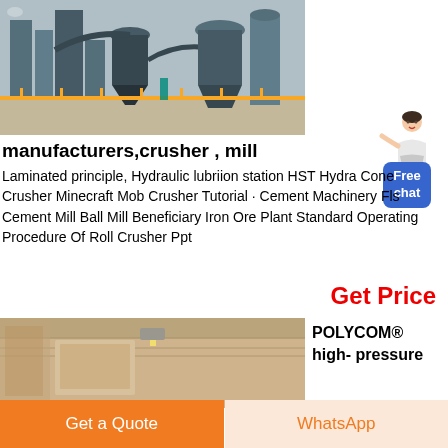[Figure (photo): Industrial cement/mineral processing plant with silos, cyclones, and conveyor pipes against a grey sky]
[Figure (illustration): Free chat widget with a woman figure and blue chat bubble reading 'Free chat']
manufacturers,crusher , mill
Laminated principle, Hydraulic lubriion station HST Hydra Cone Crusher Minecraft Mob Crusher Tutorial · Cement Machinery Fls Cement Mill Ball Mill Beneficiary Iron Ore Plant Standard Operating Procedure Of Roll Crusher Ppt
Get Price
[Figure (photo): Interior industrial facility photo, showing dusty beige/tan mechanical equipment]
POLYCOM® high- pressure
Get a Quote
WhatsApp